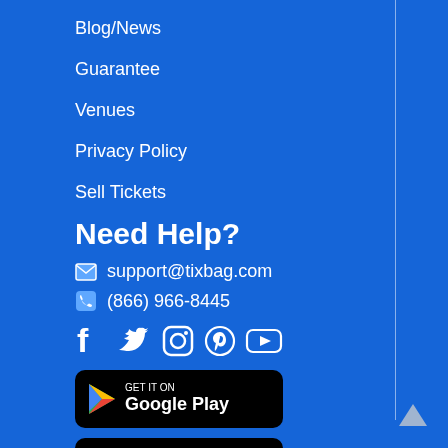Blog/News
Guarantee
Venues
Privacy Policy
Sell Tickets
Need Help?
support@tixbag.com
(866) 966-8445
[Figure (other): Social media icons: Facebook, Twitter, Instagram, Pinterest, YouTube]
[Figure (other): Google Play store badge]
[Figure (other): Apple App Store badge]